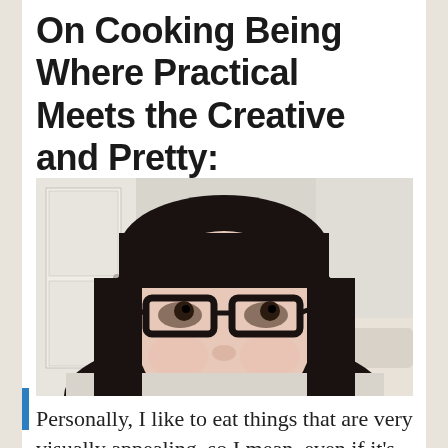On Cooking Being Where Practical Meets the Creative and Pretty:
[Figure (photo): A woman with black hair, bangs, and dark-framed glasses, smiling slightly, photographed indoors with a white door and light-colored walls in the background.]
Personally, I like to eat things that are very visually appealing, so I mean, even if it's as